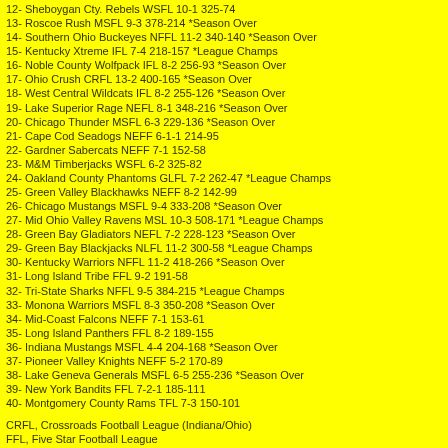12- Sheboygan Cty. Rebels WSFL 10-1 325-74
13- Roscoe Rush MSFL 9-3 378-214 *Season Over
14- Southern Ohio Buckeyes NFFL 11-2 340-140 *Season Over
15- Kentucky Xtreme IFL 7-4 218-157 *League Champs
16- Noble County Wolfpack IFL 8-2 256-93 *Season Over
17- Ohio Crush CRFL 13-2 400-165 *Season Over
18- West Central Wildcats IFL 8-2 255-126 *Season Over
19- Lake Superior Rage NEFL 8-1 348-216 *Season Over
20- Chicago Thunder MSFL 6-3 229-136 *Season Over
21- Cape Cod Seadogs NEFF 6-1-1 214-95
22- Gardner Sabercats NEFF 7-1 152-58
23- M&M Timberjacks WSFL 6-2 325-82
24- Oakland County Phantoms GLFL 7-2 262-47 *League Champs
25- Green Valley Blackhawks NEFF 8-2 142-99
26- Chicago Mustangs MSFL 9-4 333-208 *Season Over
27- Mid Ohio Valley Ravens MSL 10-3 508-171 *League Champs
28- Green Bay Gladiators NEFL 7-2 228-123 *Season Over
29- Green Bay Blackjacks NLFL 11-2 300-58 *League Champs
30- Kentucky Warriors NFFL 11-2 418-266 *Season Over
31- Long Island Tribe FFL 9-2 191-58
32- Tri-State Sharks NFFL 9-5 384-215 *League Champs
33- Monona Warriors MSFL 8-3 350-208 *Season Over
34- Mid-Coast Falcons NEFF 7-1 153-61
35- Long Island Panthers FFL 8-2 189-155
36- Indiana Mustangs MSFL 4-4 204-168 *Season Over
37- Pioneer Valley Knights NEFF 5-2 170-89
38- Lake Geneva Generals MSFL 6-5 255-236 *Season Over
39- New York Bandits FFL 7-2-1 185-111
40- Montgomery County Rams TFL 7-3 150-101
CRFL, Crossroads Football League (Indiana/Ohio)
FFL, Five Star Football League
HFL, Heartland Football League